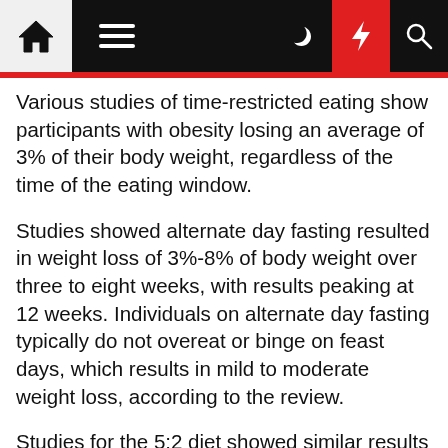Navigation bar with home, menu, moon, flash, and search icons
Various studies of time-restricted eating show participants with obesity losing an average of 3% of their body weight, regardless of the time of the eating window.
Studies showed alternate day fasting resulted in weight loss of 3%-8% of body weight over three to eight weeks, with results peaking at 12 weeks. Individuals on alternate day fasting typically do not overeat or binge on feast days, which results in mild to moderate weight loss, according to the review.
Studies for the 5:2 diet showed similar results to alternate day fasting, which surprised the study's reviewers. The subjects who participate in the 5:2 diet fast much less frequently than alternate-day fasting participants do, but the results of weight loss results are similar.